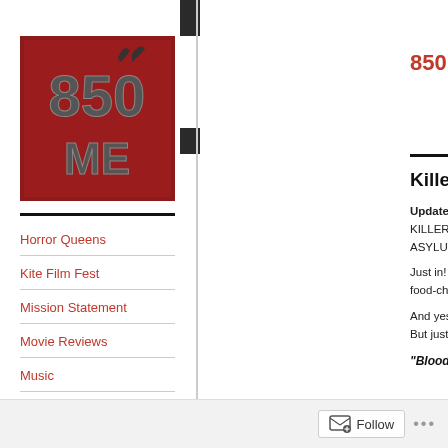[Figure (logo): 850 ME logo — red background with metallic '850' text and devil horns above the '0', and 'ME' below]
850 Music & Entertai...
Horror Queens
Kite Film Fest
Mission Statement
Movie Reviews
Music
Photographers & Artists
Killer eels? Yes please!
Update: Animal Planet's first Original H... KILLER LAMPREY'S is coming to DVD... ASYLUM under the title BLOOD LAKE...
Just in!  Info on the next movie from Jam... food-chain with every movie – and we ca...
And yes, a lamprey isn't really an eel. But just look at those teeth!
“Blood Lake: Attack of the Killer...